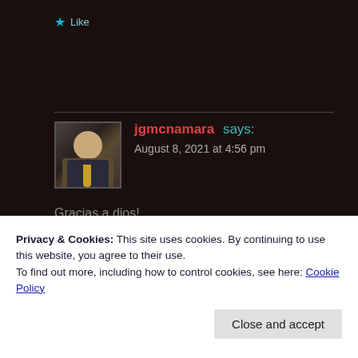★ Like
jgmcnamara says:
August 8, 2021 at 4:56 pm
Gracias a dios!
★ Like
Privacy & Cookies: This site uses cookies. By continuing to use this website, you agree to their use.
To find out more, including how to control cookies, see here: Cookie Policy
Close and accept